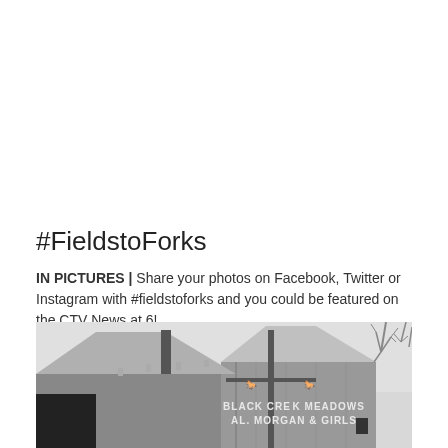#FieldstoForks
IN PICTURES | Share your photos on Facebook, Twitter or Instagram with #fieldstoforks and you could be featured on the CTV News at 6!
[Figure (photo): Black and white photograph of a wooden barn with a metal roof. Text painted on the barn reads 'BLACK CREEK MEADOWS AL. MORGAN & GIRLS' with two small horse/deer silhouette logos. Bare trees visible in the background on the right side. Overcast sky.]